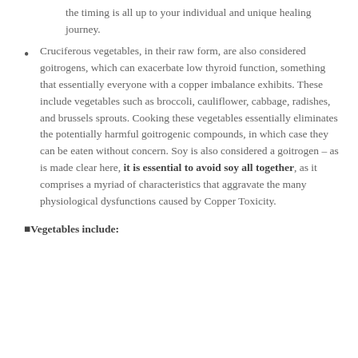the timing is all up to your individual and unique healing journey.
Cruciferous vegetables, in their raw form, are also considered goitrogens, which can exacerbate low thyroid function, something that essentially everyone with a copper imbalance exhibits. These include vegetables such as broccoli, cauliflower, cabbage, radishes, and brussels sprouts. Cooking these vegetables essentially eliminates the potentially harmful goitrogenic compounds, in which case they can be eaten without concern. Soy is also considered a goitrogen – as is made clear here, it is essential to avoid soy all together, as it comprises a myriad of characteristics that aggravate the many physiological dysfunctions caused by Copper Toxicity.
⬛Vegetables include: